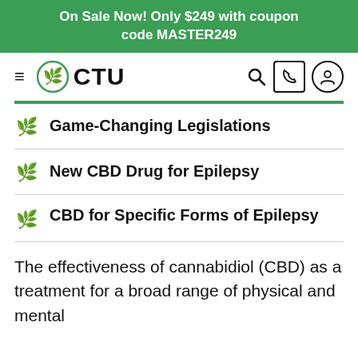On Sale Now! Only $249 with coupon code MASTER249
[Figure (logo): CTU cannabis training university logo with hamburger menu, search, phone, and user icons in navigation bar]
Game-Changing Legislations
New CBD Drug for Epilepsy
CBD for Specific Forms of Epilepsy
The effectiveness of cannabidiol (CBD) as a treatment for a broad range of physical and mental